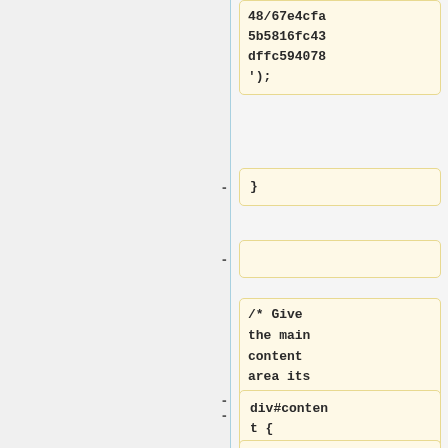48/67e4cfa
5b5816fc43
dffc594078
');
-}
-
/* Give the main content area its healthy blue glow and add a border */
div#content {
position: